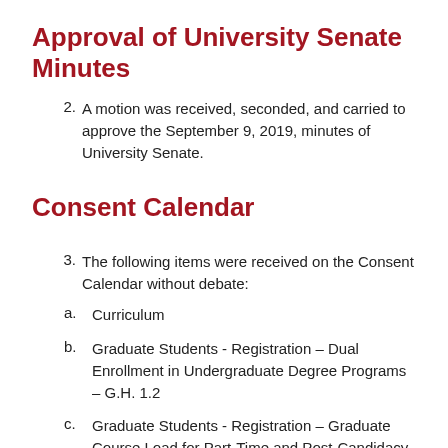Approval of University Senate Minutes
2. A motion was received, seconded, and carried to approve the September 9, 2019, minutes of University Senate.
Consent Calendar
3. The following items were received on the Consent Calendar without debate:
a. Curriculum
b. Graduate Students - Registration – Dual Enrollment in Undergraduate Degree Programs – G.H. 1.2
c. Graduate Students - Registration – Graduate Course Load for Part-Time and Post-Candidacy Students – G.H. 1.2